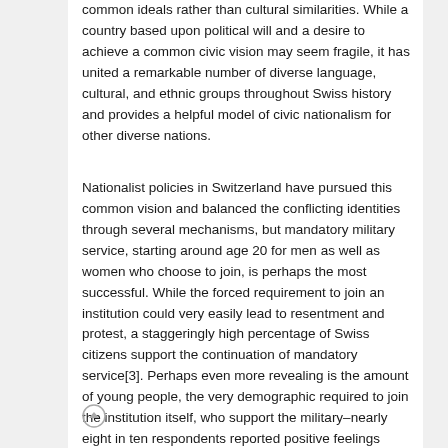common ideals rather than cultural similarities. While a country based upon political will and a desire to achieve a common civic vision may seem fragile, it has united a remarkable number of diverse language, cultural, and ethnic groups throughout Swiss history and provides a helpful model of civic nationalism for other diverse nations.
Nationalist policies in Switzerland have pursued this common vision and balanced the conflicting identities through several mechanisms, but mandatory military service, starting around age 20 for men as well as women who choose to join, is perhaps the most successful. While the forced requirement to join an institution could very easily lead to resentment and protest, a staggeringly high percentage of Swiss citizens support the continuation of mandatory service[3]. Perhaps even more revealing is the amount of young people, the very demographic required to join the institution itself, who support the military–nearly eight in ten respondents reported positive feelings toward the military, and the number is climbing[4]. According to scholar Stephen Van Evera, perceived security of borders and faith in institutions are two of the most important